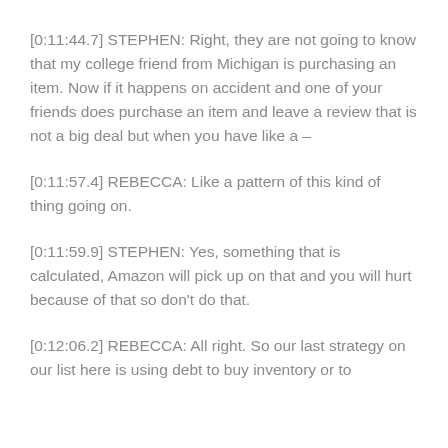[0:11:44.7] STEPHEN: Right, they are not going to know that my college friend from Michigan is purchasing an item. Now if it happens on accident and one of your friends does purchase an item and leave a review that is not a big deal but when you have like a –
[0:11:57.4] REBECCA: Like a pattern of this kind of thing going on.
[0:11:59.9] STEPHEN: Yes, something that is calculated, Amazon will pick up on that and you will hurt because of that so don't do that.
[0:12:06.2] REBECCA: All right. So our last strategy on our list here is using debt to buy inventory or to